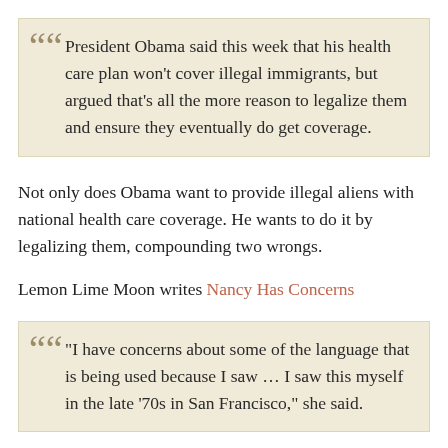President Obama said this week that his health care plan won't cover illegal immigrants, but argued that's all the more reason to legalize them and ensure they eventually do get coverage.
Not only does Obama want to provide illegal aliens with national health care coverage. He wants to do it by legalizing them, compounding two wrongs.
Lemon Lime Moon writes Nancy Has Concerns
"I have concerns about some of the language that is being used because I saw … I saw this myself in the late '70s in San Francisco," she said.
Poor Nancy